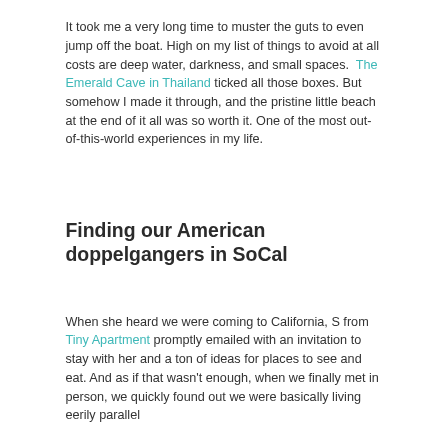It took me a very long time to muster the guts to even jump off the boat. High on my list of things to avoid at all costs are deep water, darkness, and small spaces. The Emerald Cave in Thailand ticked all those boxes. But somehow I made it through, and the pristine little beach at the end of it all was so worth it. One of the most out-of-this-world experiences in my life.
Finding our American doppelgangers in SoCal
When she heard we were coming to California, S from Tiny Apartment promptly emailed with an invitation to stay with her and a ton of ideas for places to see and eat. And as if that wasn't enough, when we finally met in person, we quickly found out we were basically living eerily parallel